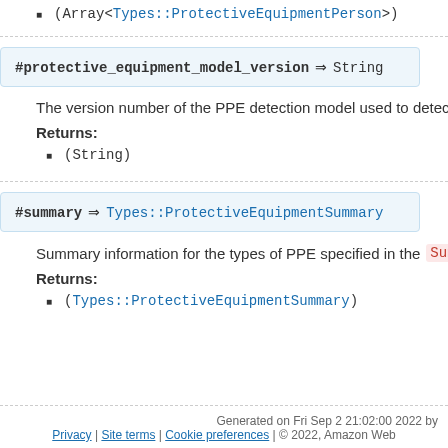(Array<Types::ProtectiveEquipmentPerson>)
#protective_equipment_model_version ⇒ String
The version number of the PPE detection model used to detect P
Returns:
(String)
#summary ⇒ Types::ProtectiveEquipmentSummary
Summary information for the types of PPE specified in the Summa
Returns:
(Types::ProtectiveEquipmentSummary)
Generated on Fri Sep 2 21:02:00 2022 by | Privacy | Site terms | Cookie preferences | © 2022, Amazon Web